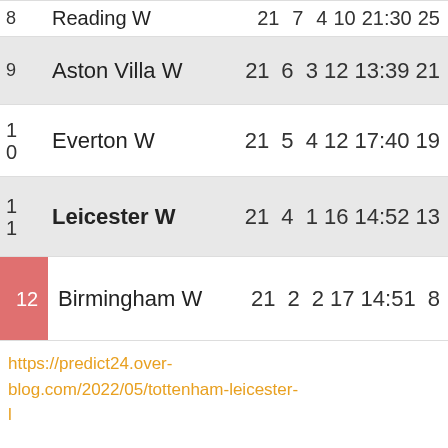| Rank | Team | P | W | D | L | GD | Pts |
| --- | --- | --- | --- | --- | --- | --- | --- |
| 8 | Reading W | 21 | 7 | 4 | 10 | 21:30 | 25 |
| 9 | Aston Villa W | 21 | 6 | 3 | 12 | 13:39 | 21 |
| 10 | Everton W | 21 | 5 | 4 | 12 | 17:40 | 19 |
| 11 | Leicester W | 21 | 4 | 1 | 16 | 14:52 | 13 |
| 12 | Birmingham W | 21 | 2 | 2 | 17 | 14:51 | 8 |
https://predict24.over-blog.com/2022/05/tottenham-leicester-